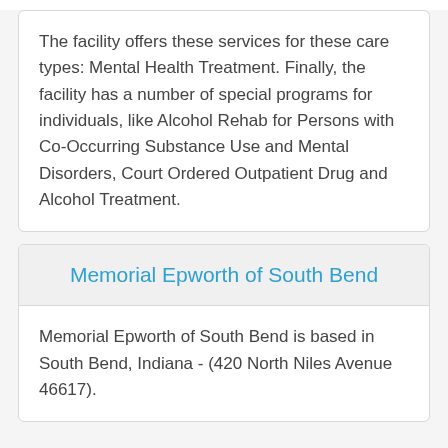The facility offers these services for these care types: Mental Health Treatment. Finally, the facility has a number of special programs for individuals, like Alcohol Rehab for Persons with Co-Occurring Substance Use and Mental Disorders, Court Ordered Outpatient Drug and Alcohol Treatment.
Memorial Epworth of South Bend
Memorial Epworth of South Bend is based in South Bend, Indiana - (420 North Niles Avenue 46617).